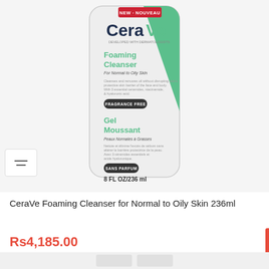[Figure (photo): CeraVe Foaming Cleanser bottle, white with green diagonal stripe, showing English and French text, FRAGRANCE FREE badge, Gel Moussant section, 8 FL OZ/236 ml]
CeraVe Foaming Cleanser for Normal to Oily Skin 236ml
Rs4,185.00